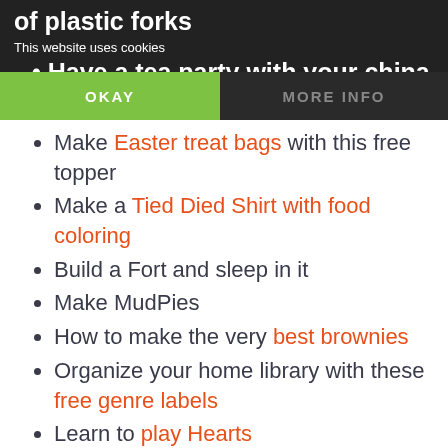of plastic forks
This website uses cookies
Have a tea party with your china or fine
OKAY | MORE INFO
Make Easter treat bags with this free topper
Make a Tied Died Shirt with food coloring
Build a Fort and sleep in it
Make MudPies
How to make the very best brownies
Organize your home library with these free genre labels
Learn to play Hearts
Make paper mâché
Make macaroni necklaces
Make Earth Day Projects – many to